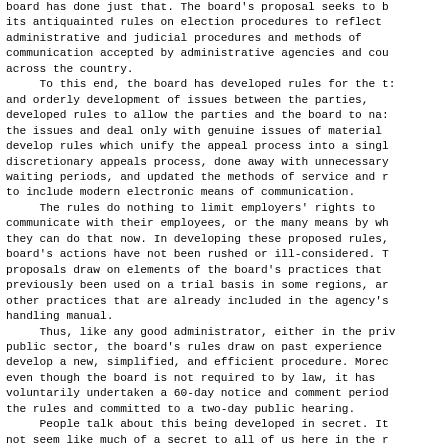board has done just that. The board's proposal seeks to update its antiquainted rules on election procedures to reflect administrative and judicial procedures and methods of communication accepted by administrative agencies and courts across the country.
	To this end, the board has developed rules for the timely and orderly development of issues between the parties, developed rules to allow the parties and the board to narrow the issues and deal only with genuine issues of material fact, develop rules which unify the appeal process into a single discretionary appeals process, done away with unnecessary waiting periods, and updated the methods of service and notice to include modern electronic means of communication.
	The rules do nothing to limit employers' rights to communicate with their employees, or the many means by which they can do that now. In developing these proposed rules, the board's actions have not been rushed or ill-considered. The proposals draw on elements of the board's practices that have previously been used on a trial basis in some regions, and other practices that are already included in the agency's case handling manual.
	Thus, like any good administrator, either in the private or public sector, the board's rules draw on past experience to develop a new, simplified, and efficient procedure. Moreover, even though the board is not required to by law, it has voluntarily undertaken a 60-day notice and comment period for the rules and committed to a two-day public hearing.
	People talk about this being developed in secret. It does not seem like much of a secret to all of us here in the room today talking about it, does it? Through this process, t